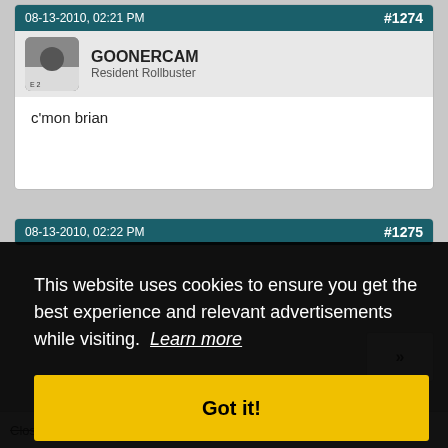08-13-2010, 02:21 PM  #1274
GOONERCAM
Resident Rollbuster
c'mon brian
08-13-2010, 02:22 PM  #1275
This website uses cookies to ensure you get the best experience and relevant advertisements while visiting.  Learn more
Got it!
Closed Thread   Subscribe   ...